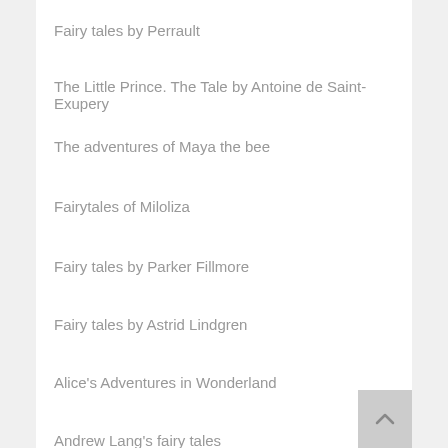Fairy tales by Perrault
The Little Prince. The Tale by Antoine de Saint-Exupery
The adventures of Maya the bee
Fairytales of Miloliza
Fairy tales by Parker Fillmore
Fairy tales by Astrid Lindgren
Alice's Adventures in Wonderland
Andrew Lang's fairy tales
Fairy tales by Oscar Wilde
Winnie-the-Pooh - Alan Milne
Kipling's tale